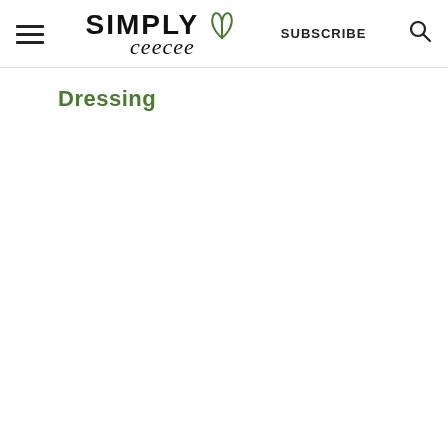Simply Ceecee — SUBSCRIBE [search icon]
Dressing